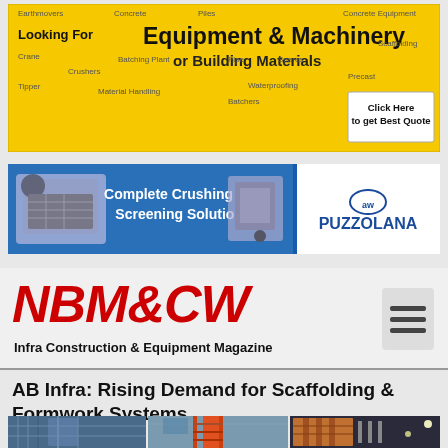[Figure (infographic): Yellow banner advertisement for Equipment & Machinery or Building Materials marketplace with tags like Earthmovers, Crane, Crushers, Tipper, Batching Plant, Spares, Waterproofing, Scaffolding, Precast, Formwork, Click Here to get Best Quote]
[Figure (infographic): Blue banner advertisement for Puzzolana: Complete Crushing and Screening Solutions with crusher machine images and logo]
[Figure (logo): NBM&CW logo - Infra Construction & Equipment Magazine header with red italic bold text and hamburger menu icon]
AB Infra: Rising Demand for Scaffolding & Formwork Systems
[Figure (photo): Three construction photos showing scaffolding and formwork systems: industrial scaffolding, orange tower scaffolding, and formwork panels]